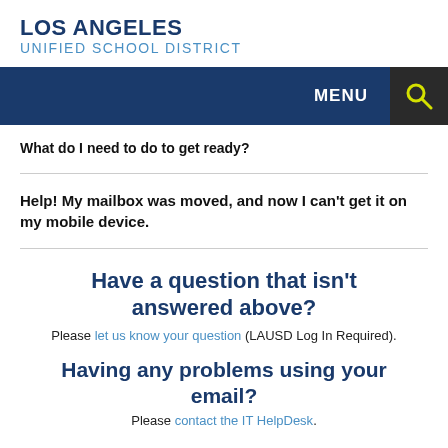LOS ANGELES
UNIFIED SCHOOL DISTRICT
MENU
What do I need to do to get ready?
Help! My mailbox was moved, and now I can't get it on my mobile device.
Have a question that isn't answered above?
Please let us know your question (LAUSD Log In Required).
Having any problems using your email?
Please contact the IT HelpDesk.